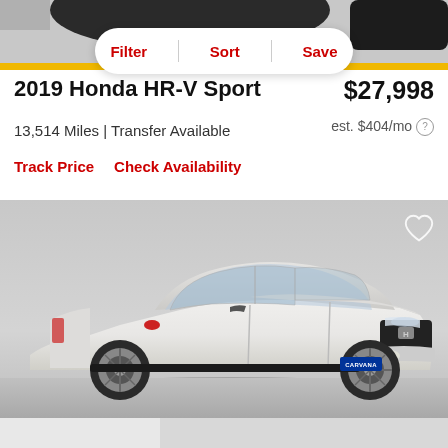[Figure (screenshot): Partial view of a dark car from above, gray background, top of page]
Filter  Sort  Save
2019 Honda HR-V Sport  $27,998
13,514 Miles | Transfer Available
est. $404/mo
Track Price  Check Availability
[Figure (photo): White 2019 Honda HR-V Sport SUV photographed at 3/4 front angle in a studio setting with gray floor, Carvana badge visible on license plate area]